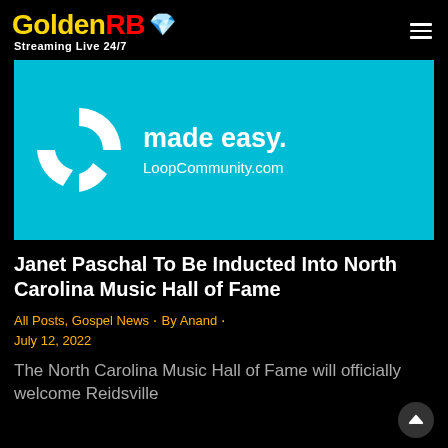GoldenRB Streaming Live 24/7
[Figure (other): Teal/cyan advertisement banner for LoopCommunity.com showing a partial circular logo icon and text 'made easy. LoopCommunity.com']
Janet Paschal To Be Inducted Into North Carolina Music Hall of Fame
All Posts, Gospel News · By Anand · July 12, 2022
The North Carolina Music Hall of Fame will officially welcome Reidsville